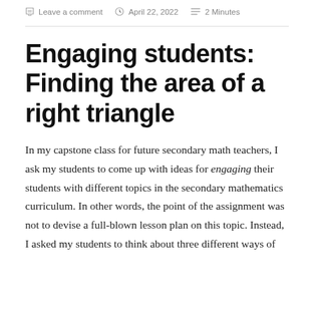Leave a comment   April 22, 2022   2 Minutes
Engaging students: Finding the area of a right triangle
In my capstone class for future secondary math teachers, I ask my students to come up with ideas for engaging their students with different topics in the secondary mathematics curriculum. In other words, the point of the assignment was not to devise a full-blown lesson plan on this topic. Instead, I asked my students to think about three different ways of